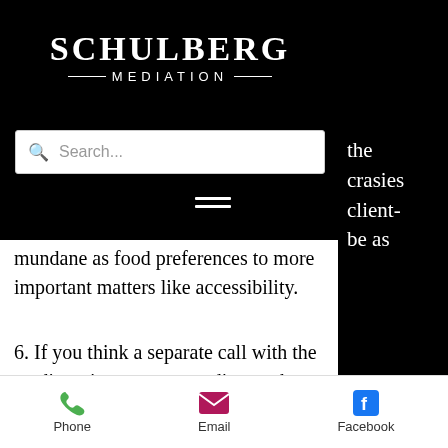[Figure (logo): Schulberg Mediation logo — white text on black background, serif font for SCHULBERG, decorative lines flanking MEDIATION]
...mundane as food preferences to more important matters like accessibility.
6. If you think a separate call with the mediator is necessary to discuss those idiosyncrasies don't hesitate to ask for a separate call.
7. Think about how you want the mediation to proceed. Do you want
Phone  Email  Facebook